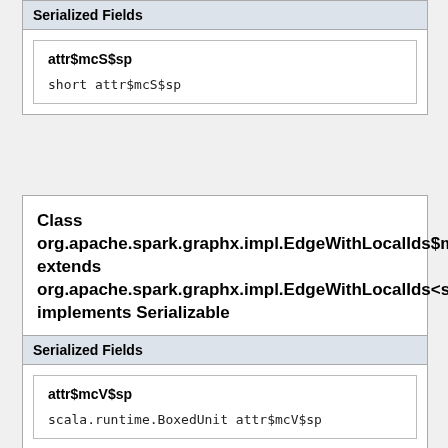Serialized Fields
| attr$mcS$sp |
| --- |
| short attr$mcS$sp |
Class org.apache.spark.graphx.impl.EdgeWithLocalIds$m extends org.apache.spark.graphx.impl.EdgeWithLocalIds<s implements Serializable
Serialized Fields
| attr$mcV$sp |
| --- |
| scala.runtime.BoxedUnit attr$mcV$sp |